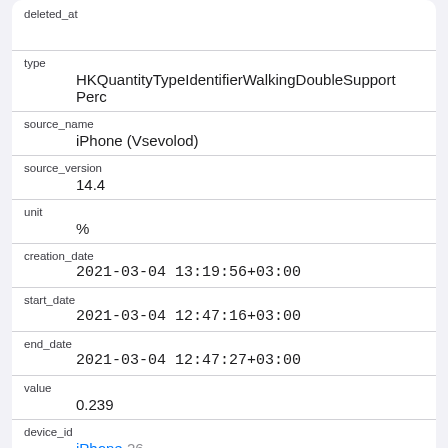| deleted_at |  |
| type | HKQuantityTypeIdentifierWalkingDoubleSupportPerc |
| source_name | iPhone (Vsevolod) |
| source_version | 14.4 |
| unit | % |
| creation_date | 2021-03-04 13:19:56+03:00 |
| start_date | 2021-03-04 12:47:16+03:00 |
| end_date | 2021-03-04 12:47:27+03:00 |
| value | 0.239 |
| device_id | iPhone 26 |